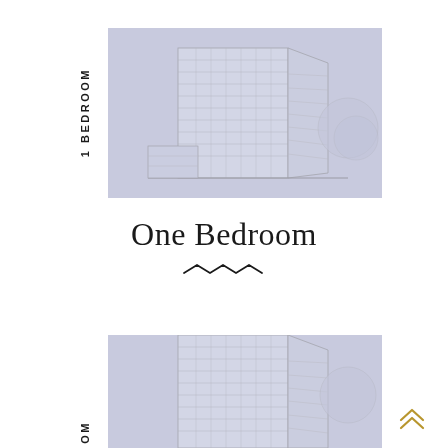[Figure (illustration): A lavender/periwinkle colored card with a vertical white tab labeled '1 BEDROOM' in rotated uppercase text on the left side, and a faint architectural sketch of a multi-story building on the right.]
One Bedroom
[Figure (illustration): Decorative zigzag/wave ornament line beneath the title.]
[Figure (illustration): Partial second card at bottom, same style as top card, with vertical white tab showing 'OM' (bottom of a word), and faint building sketch. A gold double chevron up-arrow navigation button appears at the bottom right.]